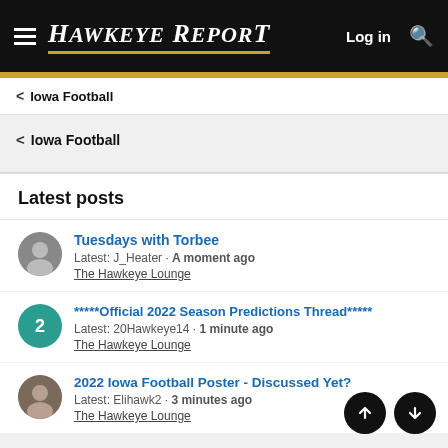Hawkeye Report — Log in
< Iowa Football
< Iowa Football
Latest posts
Tuesdays with Torbee — Latest: J_Heater · A moment ago — The Hawkeye Lounge
*****Official 2022 Season Predictions Thread***** — Latest: 20Hawkeye14 · 1 minute ago — The Hawkeye Lounge
2022 Iowa Football Poster - Discussed Yet? — Latest: Elihawk2 · 3 minutes ago — The Hawkeye Lounge